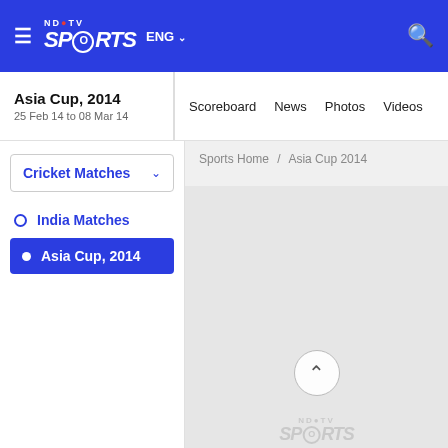NDTV Sports ENG
Asia Cup, 2014 | 25 Feb 14 to 08 Mar 14 | Scoreboard | News | Photos | Videos
Cricket Matches (dropdown)
India Matches
Asia Cup, 2014 (active)
Sports Home / Asia Cup 2014
[Figure (screenshot): Broken image placeholder for Asia Cup 2014 article image; large grey rectangle with broken image icon in top-left corner]
[Figure (logo): NDTV Sports watermark logo at the bottom center, semi-transparent]
Back to top button (chevron up icon)